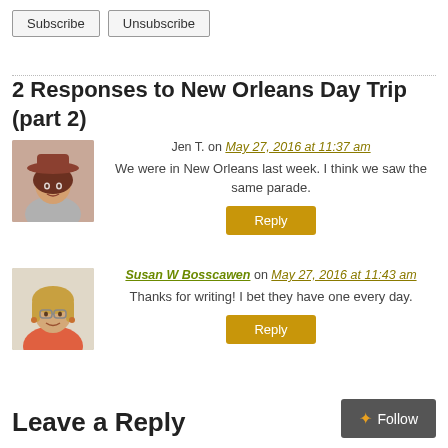Subscribe | Unsubscribe
2 Responses to New Orleans Day Trip (part 2)
Jen T. on May 27, 2016 at 11:37 am
We were in New Orleans last week. I think we saw the same parade.
Reply
Susan W Bosscawen on May 27, 2016 at 11:43 am
Thanks for writing! I bet they have one every day.
Reply
Leave a Reply
Follow